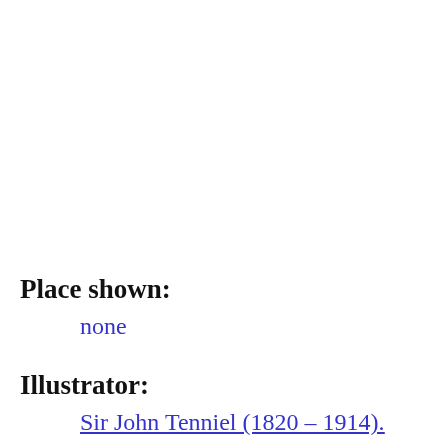Place shown:
none
Illustrator:
Sir John Tenniel (1820 – 1914).